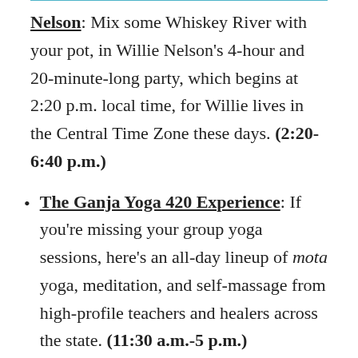Nelson: Mix some Whiskey River with your pot, in Willie Nelson's 4-hour and 20-minute-long party, which begins at 2:20 p.m. local time, for Willie lives in the Central Time Zone these days. (2:20-6:40 p.m.)
The Ganja Yoga 420 Experience: If you're missing your group yoga sessions, here's an all-day lineup of mota yoga, meditation, and self-massage from high-profile teachers and healers across the state. (11:30 a.m.-5 p.m.)